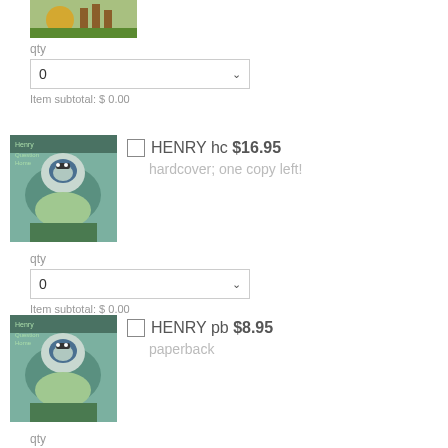[Figure (photo): Book cover thumbnail (top, partially cropped) - garden/nature scene]
qty
0
Item subtotal: $ 0.00
[Figure (photo): HENRY book cover - bird illustration (hardcover)]
HENRY hc $16.95
hardcover; one copy left!
qty
0
Item subtotal: $ 0.00
[Figure (photo): HENRY book cover - bird illustration (paperback)]
HENRY pb $8.95
paperback
qty
0
Item subtotal: $ 0.00